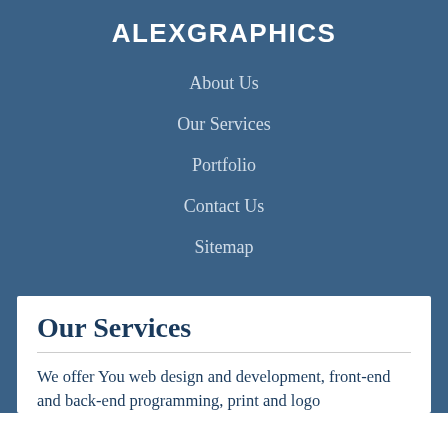ALEXGRAPHICS
About Us
Our Services
Portfolio
Contact Us
Sitemap
Our Services
We offer You web design and development, front-end and back-end programming, print and logo design and other related services.